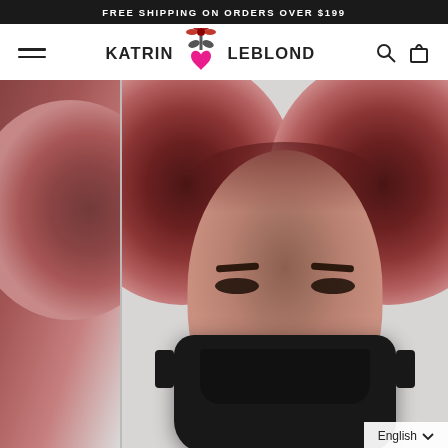FREE SHIPPING ON ORDERS OVER $199
[Figure (logo): Katrin Leblond brand logo with decorative floral/heart emblem between the two name words]
[Figure (photo): Woman with large dark burgundy afro puffs wearing a black face mask, photographed from the front against a light grey background. A partial/sliver view of another image appears on the left edge.]
English